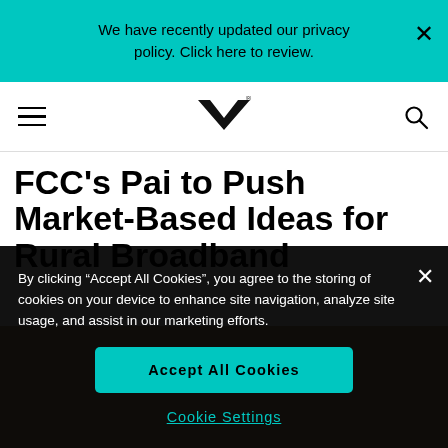We have recently updated our privacy policy. Click here to review.
[Figure (logo): MK logo — stylized M chevron icon with registration mark]
FCC’s Pai to Push Market-Based Ideas for Rural Broadband
By clicking “Accept All Cookies”, you agree to the storing of cookies on your device to enhance site navigation, analyze site usage, and assist in our marketing efforts.
Accept All Cookies
Cookie Settings